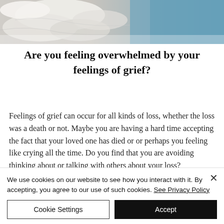[Figure (photo): Aerial or close-up photo of waves or water with foam and blue tones, partially cropped at top of page]
Are you feeling overwhelmed by your feelings of grief?
Feelings of grief can occur for all kinds of loss, whether the loss was a death or not. Maybe you are having a hard time accepting the fact that your loved one has died or or perhaps you feeling like crying all the time. Do you find that you are avoiding thinking about or talking with others about your loss?
We use cookies on our website to see how you interact with it. By accepting, you agree to our use of such cookies. See Privacy Policy
Cookie Settings
Accept